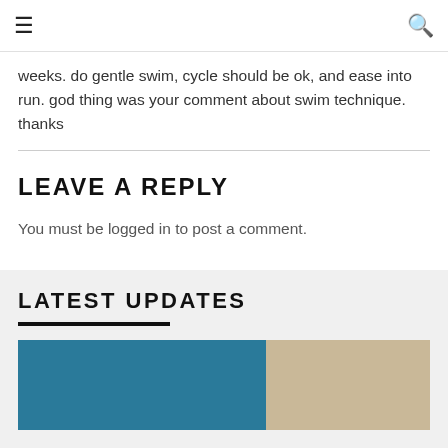☰  🔍
weeks. do gentle swim, cycle should be ok, and ease into run. god thing was your comment about swim technique. thanks
LEAVE A REPLY
You must be logged in to post a comment.
LATEST UPDATES
[Figure (photo): Two color block images side by side: left is teal/dark blue, right is tan/beige]